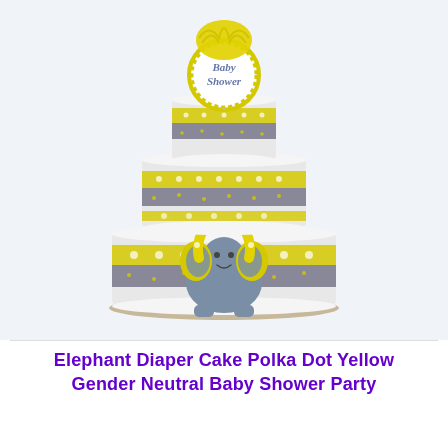[Figure (photo): A three-tier diaper cake decorated in yellow and gray polka dot theme with a yellow ribbon bow, a gray elephant figurine on the front, and a 'Baby Shower' circular topper with yellow decorative tissue on top.]
Elephant Diaper Cake Polka Dot Yellow Gender Neutral Baby Shower Party